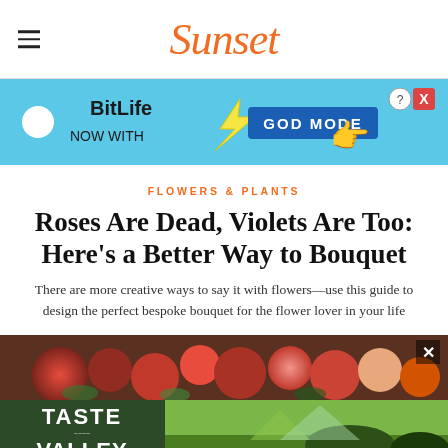Sunset
[Figure (screenshot): BitLife advertisement banner: 'NOW WITH GOD MODE' on a blue background with cartoon hand pointing]
FLOWERS & PLANTS
Roses Are Dead, Violets Are Too: Here's a Better Way to Bouquet
There are more creative ways to say it with flowers—use this guide to design the perfect bespoke bouquet for the flower lover in your life
[Figure (photo): Partial photo of colorful flowers including deep red dahlias and pink blooms]
[Figure (screenshot): Taste of the Valley advertisement: 'NOVEMBER 3-6 | LEARN MORE >' on dark green background with vineyard landscape photo]